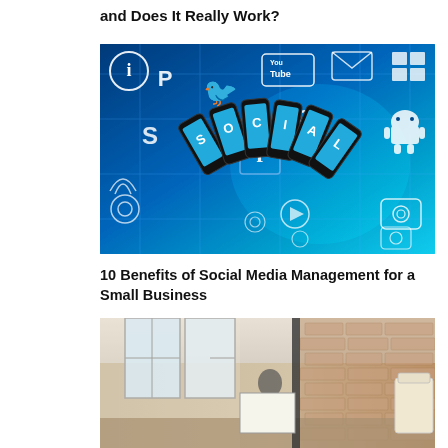and Does It Really Work?
[Figure (illustration): Social media marketing illustration showing multiple smartphones arranged in a fan displaying the word 'SOCIAL' on their screens, surrounded by various social media icons and symbols (Twitter, Facebook, YouTube, Google+, Pinterest, Instagram, etc.) on a blue glowing background with circuit-like lines.]
10 Benefits of Social Media Management for a Small Business
[Figure (photo): Interior photo of a small business workspace with brick walls, large windows with natural light, exposed wooden beams, and what appears to be a person in a modern office or cafe setting. A lamp or light fixture is visible on the right side.]